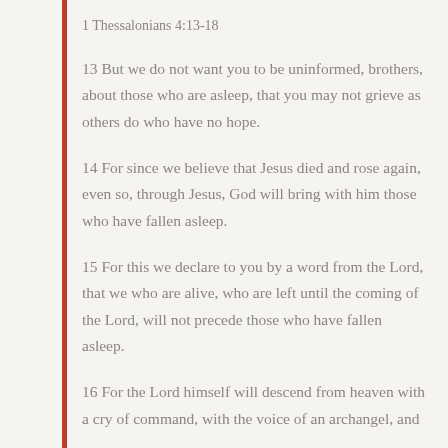1 Thessalonians 4:13-18
13 But we do not want you to be uninformed, brothers, about those who are asleep, that you may not grieve as others do who have no hope.
14 For since we believe that Jesus died and rose again, even so, through Jesus, God will bring with him those who have fallen asleep.
15 For this we declare to you by a word from the Lord, that we who are alive, who are left until the coming of the Lord, will not precede those who have fallen asleep.
16 For the Lord himself will descend from heaven with a cry of command, with the voice of an archangel, and